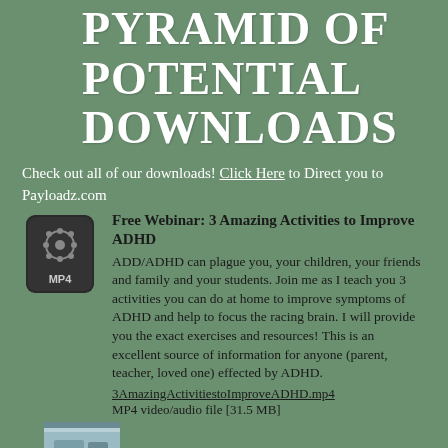PYRAMID OF POTENTIAL DOWNLOADS
Check out all of our downloads! Click Here to Direct you to Payloadz.com
[Figure (illustration): MP4 video file icon — dark rounded square with a film reel/play icon and 'MP4' label]
Free Webinar: 3 Amazing Activities to Improve ADHD
ADD/ADHD can plague you, your children, your friends and family and your students. Join me as I teach you 3 activities you can do at home to improve symptoms of ADHD and help to focus the racing brain. I will provide you the exact exercises and resources! This is an excellent source of information for anyone (parent, teacher, loved one) effected by ADHD.
3AmazingActivitiestoImproveADHD.mp4
MP4 video/audio file [31.5 MB]
[Figure (photo): Partial thumbnail image visible at bottom left — appears to show a wooden surface or furniture]